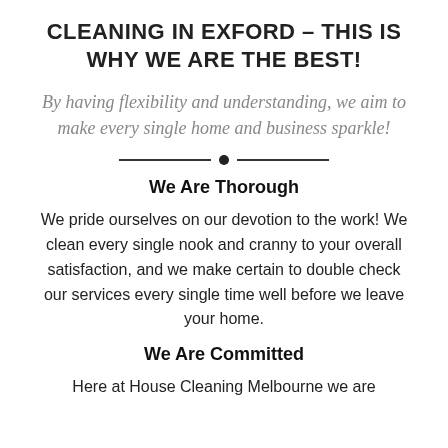CLEANING IN EXFORD – THIS IS WHY WE ARE THE BEST!
By having flexibility and understanding, we aim to make every single home and business sparkle!
We Are Thorough
We pride ourselves on our devotion to the work! We clean every single nook and cranny to your overall satisfaction, and we make certain to double check our services every single time well before we leave your home.
We Are Committed
Here at House Cleaning Melbourne we are